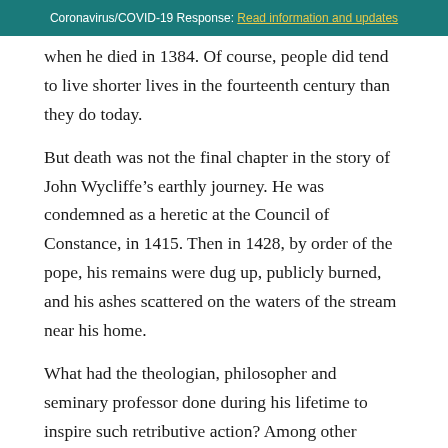Coronavirus/COVID-19 Response: Read information and updates
when he died in 1384. Of course, people did tend to live shorter lives in the fourteenth century than they do today.
But death was not the final chapter in the story of John Wycliffe’s earthly journey. He was condemned as a heretic at the Council of Constance, in 1415. Then in 1428, by order of the pope, his remains were dug up, publicly burned, and his ashes scattered on the waters of the stream near his home.
What had the theologian, philosopher and seminary professor done during his lifetime to inspire such retributive action? Among other things, his crime was that he had participated in translating the Bible into the English vernacular.
It’s interesting to recognize that the translation of the Bible associated with John Wycliffe, was not the first English